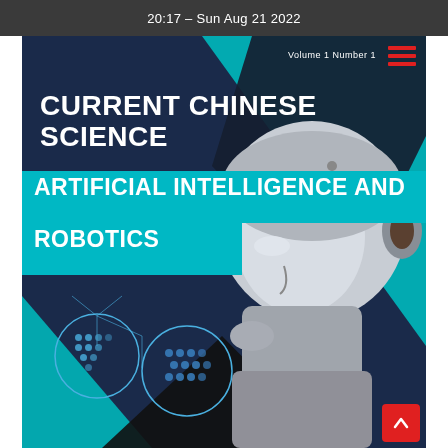20:17 – Sun Aug 21 2022
Volume 1 Number 1
CURRENT CHINESE SCIENCE
ARTIFICIAL INTELLIGENCE AND ROBOTICS
[Figure (illustration): Journal cover showing a humanoid robot in profile view with a white helmet-like head, looking to the right, with network/people infographic circles in the lower left, teal and dark geometric shapes, on a dark navy background.]